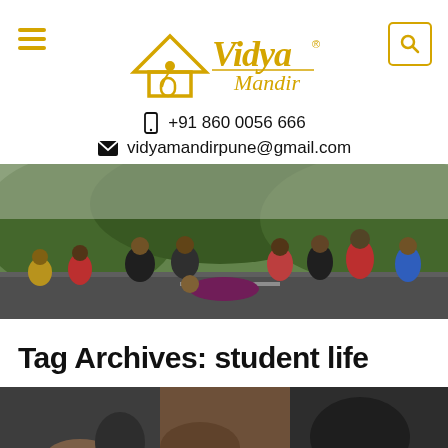[Figure (logo): Vidya Mandir logo with house icon and stylized text in gold/yellow]
+91 860 0056 666
vidyamandirpune@gmail.com
[Figure (photo): Group photo of students sitting and lying on a road with green hills in background]
Tag Archives: student life
[Figure (photo): Partial photo of people, cropped at bottom of page]